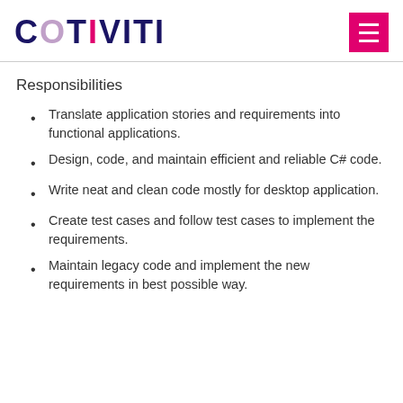COTIVITI
Responsibilities
Translate application stories and requirements into functional applications.
Design, code, and maintain efficient and reliable C# code.
Write neat and clean code mostly for desktop application.
Create test cases and follow test cases to implement the requirements.
Maintain legacy code and implement the new requirements in best possible way.